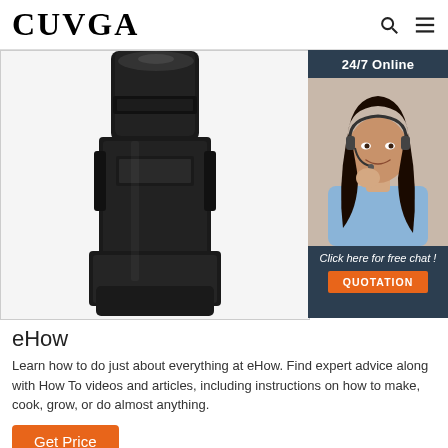CUVGA
[Figure (photo): Close-up photo of a black industrial or mechanical device/tool on a white background, with an overlay advertisement banner showing a woman with a headset and '24/7 Online', 'Click here for free chat!', 'QUOTATION' text.]
eHow
Learn how to do just about everything at eHow. Find expert advice along with How To videos and articles, including instructions on how to make, cook, grow, or do almost anything.
Get Price